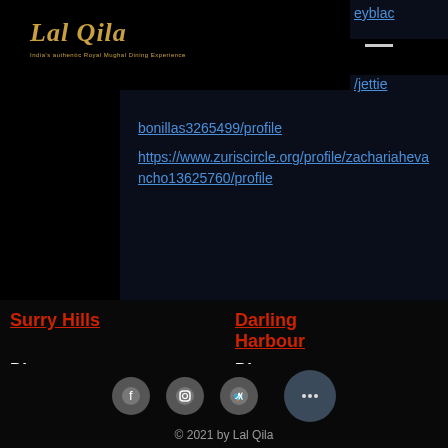Lal Qila — navigation header with hamburger menu
bonillas3265499/profile https://www.zuriscircle.org/profile/zachariahevancho13625760/profile
Surry Hills
Dinner: Mon - Sunday 05:00PM - 10:00PM
Darling Harbour
Dinner: Mon - Sunday 05:00PM - 10:00PM
© 2021 by Lal Qila